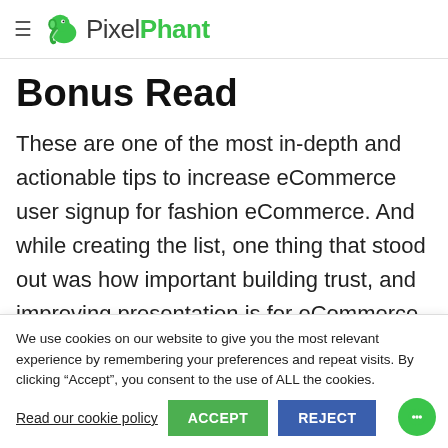≡ PixelPhant
Bonus Read
These are one of the most in-depth and actionable tips to increase eCommerce user signup for fashion eCommerce. And while creating the list, one thing that stood out was how important building trust, and improving presentation is for eCommerce.
We use cookies on our website to give you the most relevant experience by remembering your preferences and repeat visits. By clicking "Accept", you consent to the use of ALL the cookies.
Read our cookie policy  ACCEPT  REJECT